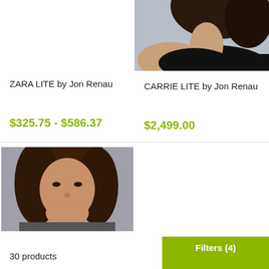[Figure (photo): Partial photo of a woman with dark hair wearing a black top, cropped showing neck and shoulder area – product photo for CARRIE LITE wig]
ZARA LITE by Jon Renau
CARRIE LITE by Jon Renau
$325.75 - $586.37
$2,499.00
[Figure (photo): Photo of a woman with medium-length brown hair – product photo for a wig]
30 products
Filters (4)